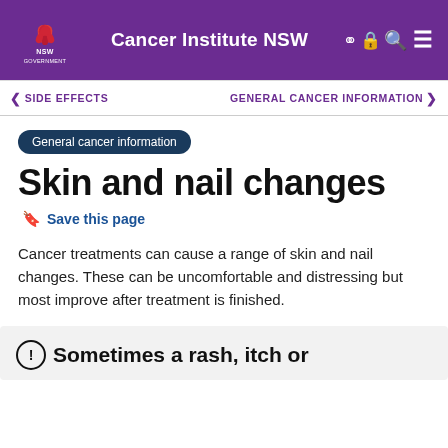Cancer Institute NSW
SIDE EFFECTS | GENERAL CANCER INFORMATION
General cancer information
Skin and nail changes
Save this page
Cancer treatments can cause a range of skin and nail changes. These can be uncomfortable and distressing but most improve after treatment is finished.
Sometimes a rash, itch or